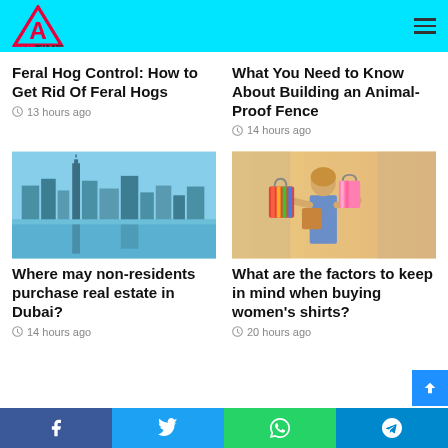FWD TIMES
Feral Hog Control: How to Get Rid Of Feral Hogs
13 hours ago
What You Need to Know About Building an Animal-Proof Fence
14 hours ago
[Figure (photo): Dubai skyline with skyscrapers reflected in water on a clear day]
Where may non-residents purchase real estate in Dubai?
14 hours ago
[Figure (photo): Woman carrying multiple colorful shopping bags in a retail store]
What are the factors to keep in mind when buying women's shirts?
20 hours ago
Facebook | Twitter | WhatsApp | Telegram